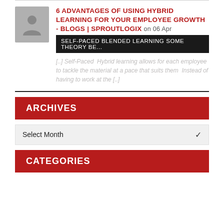[Figure (illustration): Gray avatar placeholder icon of a person (head and shoulders silhouette)]
6 ADVANTAGES OF USING HYBRID LEARNING FOR YOUR EMPLOYEE GROWTH - BLOGS | SPROUTLOGIX on 06 Apr
SELF-PACED BLENDED LEARNING SOME THEORY BE...
[..] Self-Paced  Hybrid learning allows for each employee to tackle the material at a pace that suits them  Instead of having to work at the [..]
ARCHIVES
Select Month
CATEGORIES